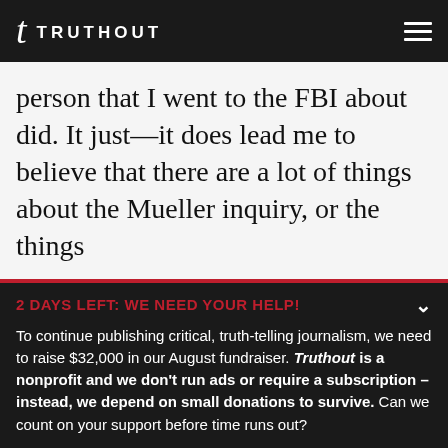TRUTHOUT
person that I went to the FBI about did. It just—it does lead me to believe that there are a lot of things about the Mueller inquiry, or the things
2 DAYS LEFT: WE NEED YOUR HELP!
To continue publishing critical, truth-telling journalism, we need to raise $32,000 in our August fundraiser. Truthout is a nonprofit and we don't run ads or require a subscription – instead, we depend on small donations to survive. Can we count on your support before time runs out?
DONATE
DONATE MONTHLY